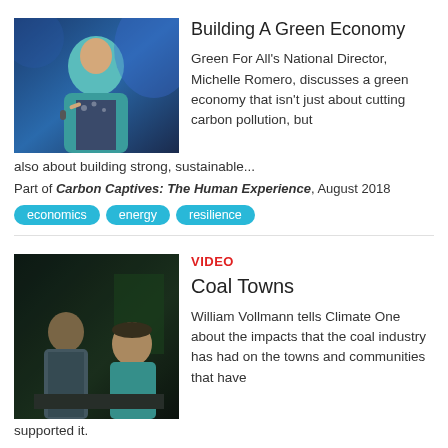[Figure (photo): Person speaking on stage with blue lighting background]
Building A Green Economy
Green For All's National Director, Michelle Romero, discusses a green economy that isn't just about cutting carbon pollution, but also about building strong, sustainable...
Part of Carbon Captives: The Human Experience, August 2018
economics
energy
resilience
VIDEO
[Figure (photo): Two people seated on stage in dark setting]
Coal Towns
William Vollmann tells Climate One about the impacts that the coal industry has had on the towns and communities that have supported it.